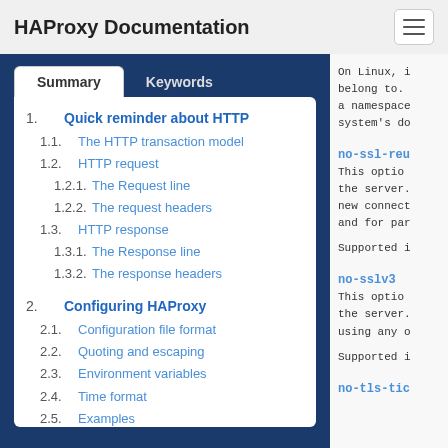HAProxy Documentation
1. Quick reminder about HTTP
1.1. The HTTP transaction model
1.2. HTTP request
1.2.1. The Request line
1.2.2. The request headers
1.3. HTTP response
1.3.1. The Response line
1.3.2. The response headers
2. Configuring HAProxy
2.1. Configuration file format
2.2. Quoting and escaping
2.3. Environment variables
2.4. Time format
2.5. Examples
3. Global parameters
On Linux, i belong to. a namespace system's do
no-ssl-reu
This option the server. new connect and for par
Supported i
no-sslv3
This option the server. using any o
Supported i
no-tls-tic